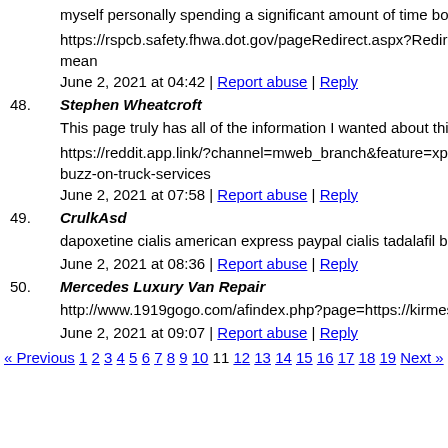myself personally spending a significant amount of time both m
https://rspcb.safety.fhwa.dot.gov/pageRedirect.aspx?Redirecte mean
June 2, 2021 at 04:42 | Report abuse | Reply
48. Stephen Wheatcroft
This page truly has all of the information I wanted about this s
https://reddit.app.link/?channel=mweb_branch&feature=xpron buzz-on-truck-services
June 2, 2021 at 07:58 | Report abuse | Reply
49. CrulkAsd
dapoxetine cialis american express paypal cialis tadalafil brand
June 2, 2021 at 08:36 | Report abuse | Reply
50. Mercedes Luxury Van Repair
http://www.1919gogo.com/afindex.php?page=https://kirmes-w
June 2, 2021 at 09:07 | Report abuse | Reply
« Previous 1 2 3 4 5 6 7 8 9 10 11 12 13 14 15 16 17 18 19 Next »